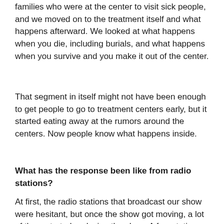families who were at the center to visit sick people, and we moved on to the treatment itself and what happens afterward. We looked at what happens when you die, including burials, and what happens when you survive and you make it out of the center.
That segment in itself might not have been enough to get people to go to treatment centers early, but it started eating away at the rumors around the centers. Now people know what happens inside.
What has the response been like from radio stations?
At first, the radio stations that broadcast our show were hesitant, but once the show got moving, a lot of them started replaying the show. A few stations have told us that they're getting good feedback from their listeners – that's why they play the show again.